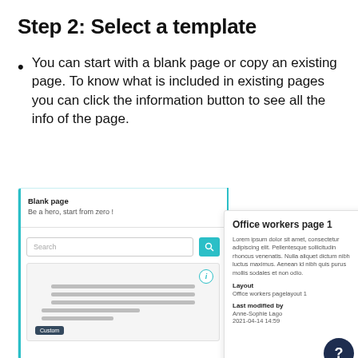Step 2: Select a template
You can start with a blank page or copy an existing page. To know what is included in existing pages you can click the information button to see all the info of the page.
[Figure (screenshot): Screenshot showing a template selection UI with a 'Blank page' card on the left, a search bar with teal search button, a thumbnail card with 'Custom' badge and info button, and an info popup on the right showing 'Office workers page 1' with Lorem ipsum description, Layout: Office workers pagelayout 1, Last modified by: Anne-Sophie Lago, 2021-04-14 14:59. A dark navy help button with '?' is visible in the bottom right.]